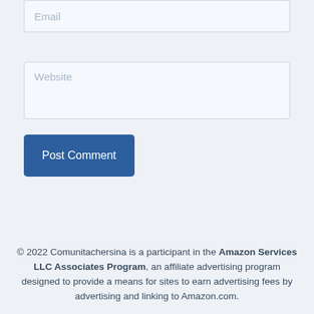Email
Website
Post Comment
© 2022 Comunitachersina is a participant in the Amazon Services LLC Associates Program, an affiliate advertising program designed to provide a means for sites to earn advertising fees by advertising and linking to Amazon.com.